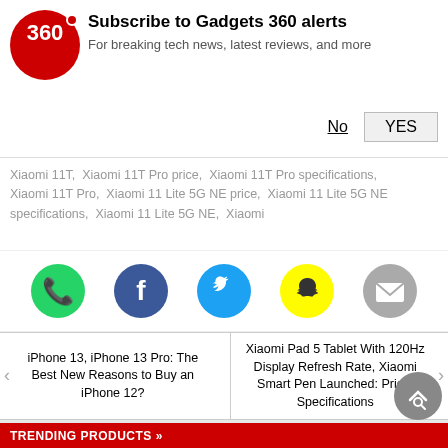[Figure (logo): Gadgets 360 logo - red circle with '360' text]
Subscribe to Gadgets 360 alerts
For breaking tech news, latest reviews, and more
No   YES
Xiaomi 11T,  Xiaomi 11T Pro price,  Xiaomi 11T Pro specifications,  Xiaomi 11T Pro,  Xiaomi 11 Lite 5G NE price,  Xiaomi 11 Lite 5G NE specifications,  Xiaomi 11 Lite 5G NE,  Xiaomi
[Figure (infographic): Social share icons: WhatsApp (green), Facebook (dark blue), Twitter (light blue), Snapchat (yellow), Email (gray)]
iPhone 13, iPhone 13 Pro: The Best New Reasons to Buy an iPhone 12?
Xiaomi Pad 5 Tablet With 120Hz Display Refresh Rate, Xiaomi Smart Pen Launched: Price, Specifications
TRENDING PRODUCTS »
Xiaomi 11T (8GB RAM, 128GB) - Meteorite